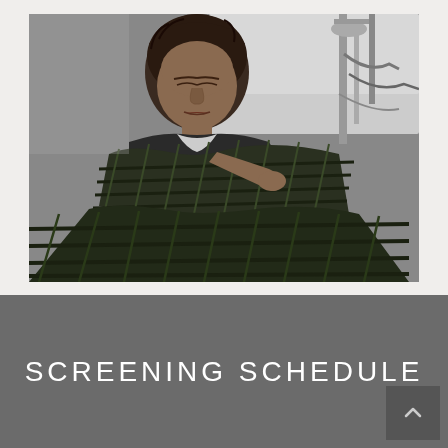[Figure (photo): Black and white photograph of a woman lying in a hospital bed, covered with a plaid blanket, with medical equipment visible in the background.]
SCREENING SCHEDULE